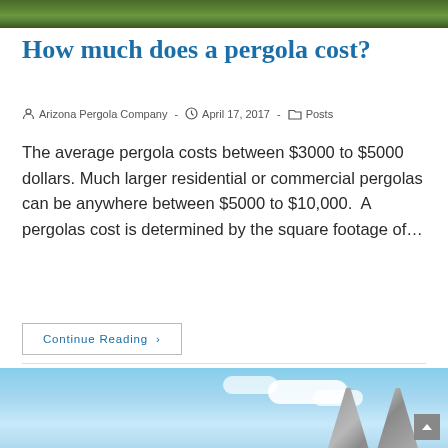[Figure (photo): Top portion of a pergola or outdoor structure with green landscaping and grass visible]
How much does a pergola cost?
Arizona Pergola Company  -  April 17, 2017  -  Posts
The average pergola costs between $3000 to $5000 dollars. Much larger residential or commercial pergolas can be anywhere between $5000 to $10,000.  A pergolas cost is determined by the square footage of…
Continue Reading ›
[Figure (photo): Bottom portion showing blue sky with clouds and what appears to be a pergola structure]